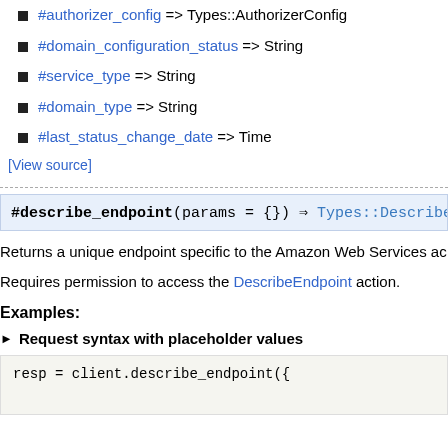#authorizer_config => Types::AuthorizerConfig
#domain_configuration_status => String
#service_type => String
#domain_type => String
#last_status_change_date => Time
[View source]
#describe_endpoint(params = {}) => Types::DescribeEn...
Returns a unique endpoint specific to the Amazon Web Services ac...
Requires permission to access the DescribeEndpoint action.
Examples:
► Request syntax with placeholder values
resp = client.describe_endpoint({